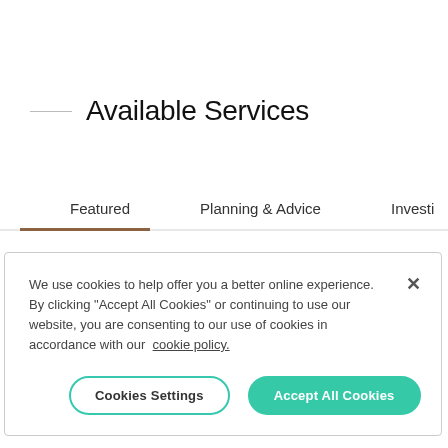Available Services
Featured
Planning & Advice
Investi
We use cookies to help offer you a better online experience. By clicking "Accept All Cookies" or continuing to use our website, you are consenting to our use of cookies in accordance with our cookie policy.
Cookies Settings
Accept All Cookies